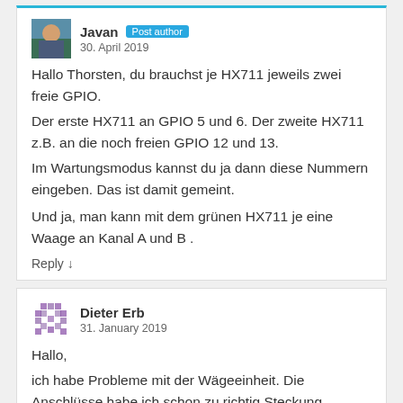Javan  Post author
30. April 2019
Hallo Thorsten, du brauchst je HX711 jeweils zwei freie GPIO.
Der erste HX711 an GPIO 5 und 6. Der zweite HX711 z.B. an die noch freien GPIO 12 und 13.
Im Wartungsmodus kannst du ja dann diese Nummern eingeben. Das ist damit gemeint.

Und ja, man kann mit dem grünen HX711 je eine Waage an Kanal A und B .
Reply ↓
Dieter Erb
31. January 2019
Hallo,
ich habe Probleme mit der Wägeeinheit. Die Anschlüsse habe ich schon zu richtig Steckung überprüft. Das HX711